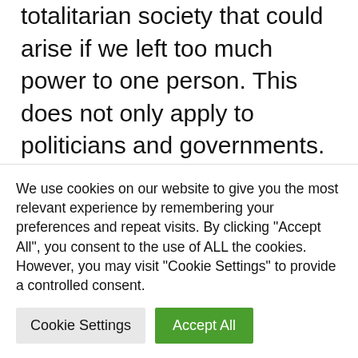totalitarian society that could arise if we left too much power to one person. This does not only apply to politicians and governments. This also applies to technology and games. I read Orwell's books decades ago and I see the warnings he gave us as relevant as ever.
Apple invoked these images in its famous 1984 television commercial, promoting the Macintosh computer as a counterbalance to
We use cookies on our website to give you the most relevant experience by remembering your preferences and repeat visits. By clicking "Accept All", you consent to the use of ALL the cookies. However, you may visit "Cookie Settings" to provide a controlled consent.